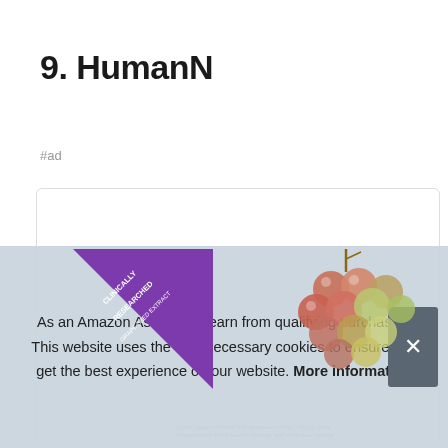9. HumanN
#ad
[Figure (photo): Product card for HumanN supplement showing a purple clinically-researched grape seed extract banner and a bunch of red/green grapes on white background]
As an Amazon Associate I earn from qualifying purchases. This website uses the only necessary cookies to ensure you get the best experience on our website. More information